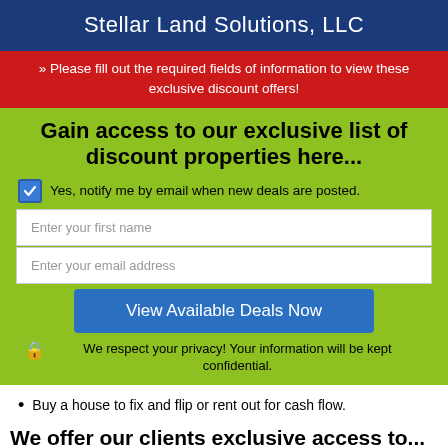Stellar Land Solutions, LLC
» Please fill out the required fields of information to view these exclusive discount offers!
Gain access to our exclusive list of discount properties here...
Yes, notify me by email when new deals are posted.
Enter your first name
Enter your email address
View Available Deals Now
We respect your privacy! Your information will be kept confidential.
Buy a house to fix and flip or rent out for cash flow.
We offer our clients exclusive access to...